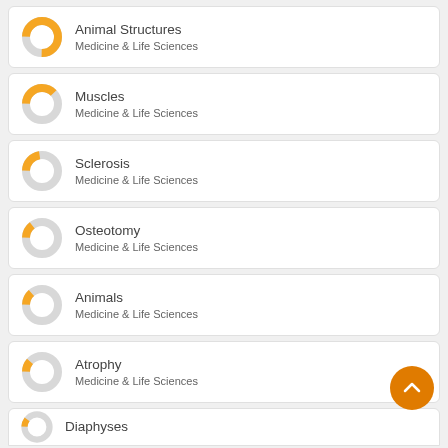[Figure (donut-chart): Donut chart showing high fill (~75%) for Animal Structures, Medicine & Life Sciences]
Animal Structures
Medicine & Life Sciences
[Figure (donut-chart): Donut chart showing medium fill (~40%) for Muscles, Medicine & Life Sciences]
Muscles
Medicine & Life Sciences
[Figure (donut-chart): Donut chart showing small fill (~25%) for Sclerosis, Medicine & Life Sciences]
Sclerosis
Medicine & Life Sciences
[Figure (donut-chart): Donut chart showing small fill (~15%) for Osteotomy, Medicine & Life Sciences]
Osteotomy
Medicine & Life Sciences
[Figure (donut-chart): Donut chart showing small fill (~15%) for Animals, Medicine & Life Sciences]
Animals
Medicine & Life Sciences
[Figure (donut-chart): Donut chart showing small fill (~12%) for Atrophy, Medicine & Life Sciences]
Atrophy
Medicine & Life Sciences
[Figure (donut-chart): Partial donut chart for Diaphyses (card partially visible)]
Diaphyses